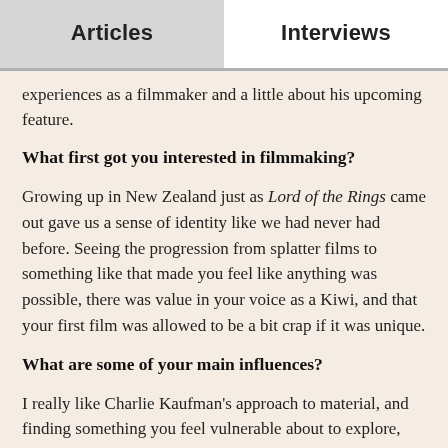Articles | Interviews
experiences as a filmmaker and a little about his upcoming feature.
What first got you interested in filmmaking?
Growing up in New Zealand just as Lord of the Rings came out gave us a sense of identity like we had never had before. Seeing the progression from splatter films to something like that made you feel like anything was possible, there was value in your voice as a Kiwi, and that your first film was allowed to be a bit crap if it was unique.
What are some of your main influences?
I really like Charlie Kaufman's approach to material, and finding something you feel vulnerable about to explore, writing from your...